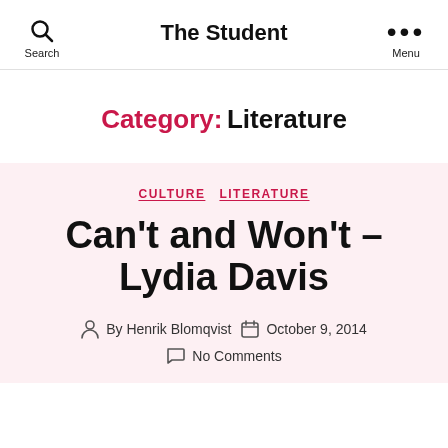The Student
Category: Literature
CULTURE   LITERATURE
Can't and Won't – Lydia Davis
By Henrik Blomqvist   October 9, 2014   No Comments